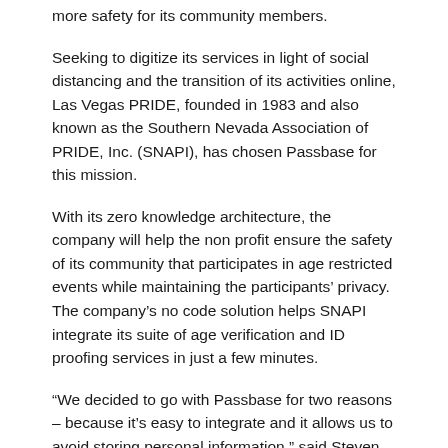more safety for its community members.
Seeking to digitize its services in light of social distancing and the transition of its activities online, Las Vegas PRIDE, founded in 1983 and also known as the Southern Nevada Association of PRIDE, Inc. (SNAPI), has chosen Passbase for this mission.
With its zero knowledge architecture, the company will help the non profit ensure the safety of its community that participates in age restricted events while maintaining the participants' privacy. The company's no code solution helps SNAPI integrate its suite of age verification and ID proofing services in just a few minutes.
“We decided to go with Passbase for two reasons – because it’s easy to integrate and it allows us to avoid storing personal information,” said Steven Other, adult programming coordinator at Las Vegas